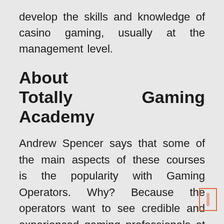develop the skills and knowledge of casino gaming, usually at the management level.
About Totally Gaming Academy
Andrew Spencer says that some of the main aspects of these courses is the popularity with Gaming Operators. Why? Because the operators want to see credible and experienced gaming professionals at the front. They want to learn how to make a difference in their own business, whether is a new business or operating one more